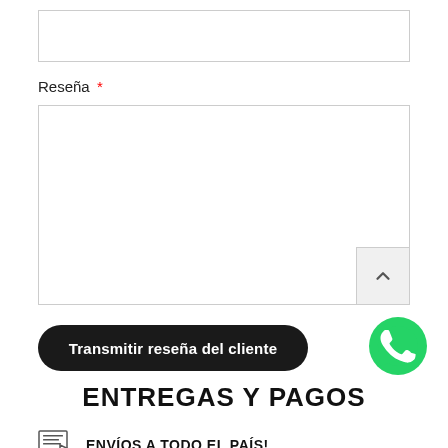[Figure (screenshot): Empty text input field with border]
Reseña *
[Figure (screenshot): Large textarea input field with border and scroll button]
[Figure (screenshot): Black rounded button labeled 'Transmitir reseña del cliente']
[Figure (screenshot): WhatsApp green phone icon]
ENTREGAS Y PAGOS
ENVÍOS A TODO EL PAÍS!